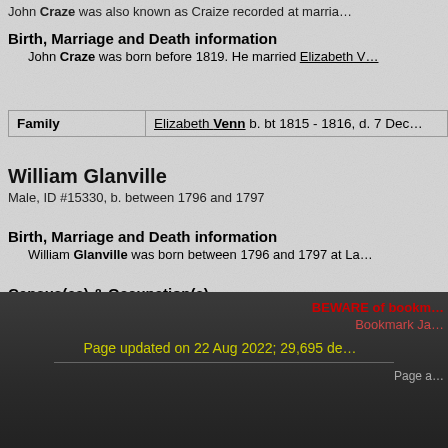John Craze was also known as Craize recorded at marria...
Birth, Marriage and Death information
John Craze was born before 1819. He married Elizabeth V...
| Family | Elizabeth Venn b. bt 1815 - 1816, d. 7 Dec... |
| --- | --- |
William Glanville
Male, ID #15330, b. between 1796 and 1797
Birth, Marriage and Death information
William Glanville was born between 1796 and 1797 at La...
Census(es) & Occupation(s)
William Glanville was a general farm labourer on 2 April 1871.
He appeared on the census of 2 April 1871 at Union Workhouse, St Col...
BEWARE of bookm... Bookmark Ja... Page updated on 22 Aug 2022; 29,695 de... Page a...